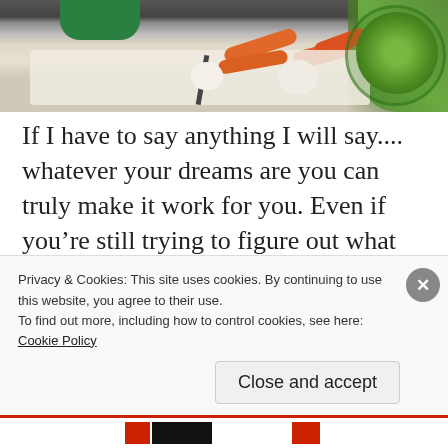[Figure (photo): Top portion of a photo showing someone preparing food in a kitchen — vegetables including carrots and garlic on a cutting board, and a bowl of green salad on the right.]
If I have to say anything I will say.... whatever your dreams are you can truly make it work for you. Even if you’re still trying to figure out what that dream is it will come. We all have a purpose in life and we all have talents. Never be afraid to learn, know when to speak and when to observe and learn, know that just because you know one way there are other
Privacy & Cookies: This site uses cookies. By continuing to use this website, you agree to their use.
To find out more, including how to control cookies, see here:
Cookie Policy
Close and accept